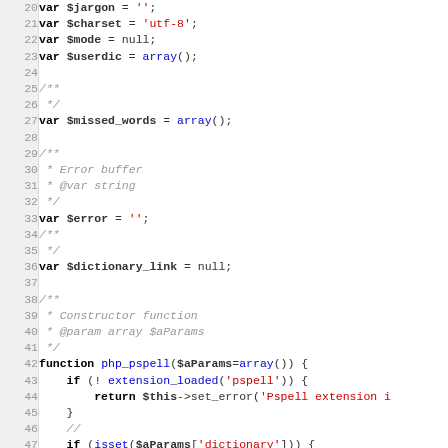Source code listing lines 20-51, PHP class variable declarations and constructor function beginning
20: var $jargon = '';
21: var $charset = 'utf-8';
22: var $mode = null;
23: var $userdic = array();
24: (blank)
25: /**
26:  */
27: var $missed_words = array();
28: (blank)
29: /**
30:  * Error buffer
31:  * @var string
32:  */
33: var $error = '';
34: /**
35:  */
36: var $dictionary_link = null;
37: (blank)
38: /**
39:  * Constructor function
40:  * @param array $aParams
41:  */
42: function php_pspell($aParams=array()) {
43:     if (! extension_loaded('pspell')) {
44:         return $this->set_error('Pspell extension i…
45:     }
46:     //
47:     if (isset($aParams['dictionary'])) {
48:         $aDict = explode(',',$aParams['dictionary'…
49:         if (isset($aDict[0])) $this->dict = trim($a…
50:         if (isset($aDict[1])) $this->subdict = trim…
51:         if (isset($aDict[2])) $this->jargon = trim…